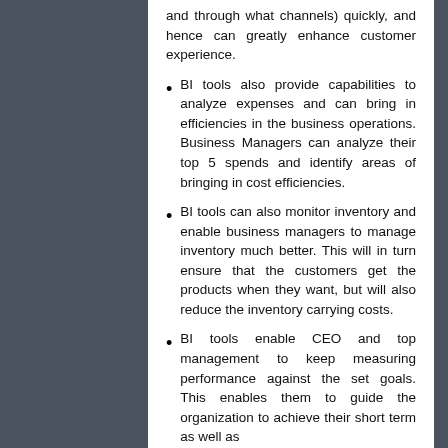and through what channels) quickly, and hence can greatly enhance customer experience.
BI tools also provide capabilities to analyze expenses and can bring in efficiencies in the business operations. Business Managers can analyze their top 5 spends and identify areas of bringing in cost efficiencies.
BI tools can also monitor inventory and enable business managers to manage inventory much better. This will in turn ensure that the customers get the products when they want, but will also reduce the inventory carrying costs.
BI tools enable CEO and top management to keep measuring performance against the set goals. This enables them to guide the organization to achieve their short term as well as